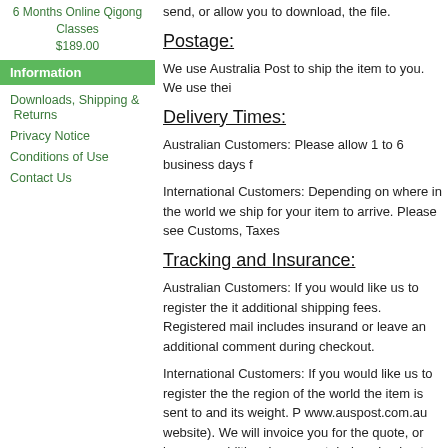6 Months Online Qigong Classes
$189.00
Information
Downloads, Shipping & Returns
Privacy Notice
Conditions of Use
Contact Us
send, or allow you to download, the file.
Postage:
We use Australia Post to ship the item to you. We use thei
Delivery Times:
Australian Customers: Please allow 1 to 6 business days f
International Customers: Depending on where in the world we ship for your item to arrive. Please see Customs, Taxes
Tracking and Insurance:
Australian Customers: If you would like us to register the it additional shipping fees. Registered mail includes insurand or leave an additional comment during checkout.
International Customers: If you would like us to register the the region of the world the item is sent to and its weight. P www.auspost.com.au website). We will invoice you for the quote, or leave an additional comment during checkout.
Packaging:
We take great care to pack you items properly to insure th